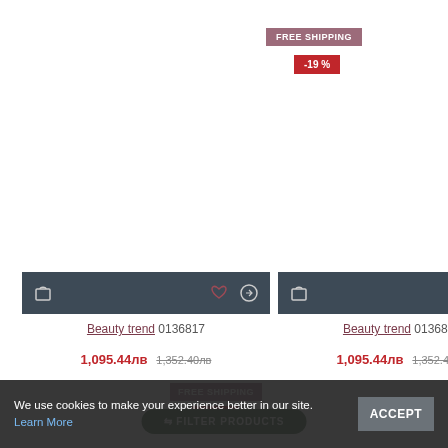FREE SHIPPING
-19 %
FREE SHIPPING
-19 %
Beauty trend 0136817
1,095.44лв  1,352.40лв
Beauty trend 0136816
1,095.44лв  1,352.40лв
FREE SHIPPING
-24 %
FREE SHIPPING
-38 %
We use cookies to make your experience better in our site. Learn More
ACCEPT
FILTER PRODUCTS